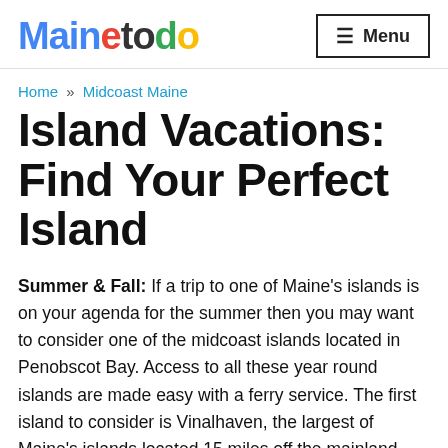Mainetodo — Menu
Home » Midcoast Maine
Island Vacations: Find Your Perfect Island
Summer & Fall: If a trip to one of Maine's islands is on your agenda for the summer then you may want to consider one of the midcoast islands located in Penobscot Bay. Access to all these year round islands are made easy with a ferry service. The first island to consider is Vinalhaven, the largest of Maine's islands located 15 miles off the mainland. The best way to get